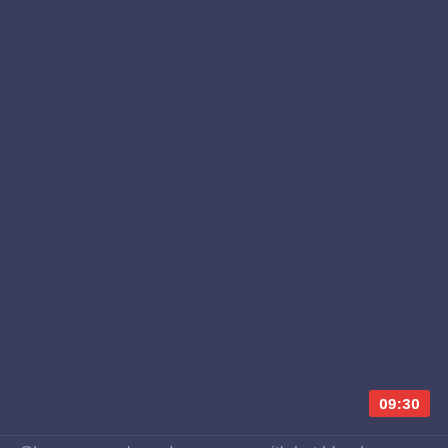[Figure (screenshot): Video thumbnail placeholder with dark blue-grey background and a red duration badge showing 09:30 in the upper-right area of the thumbnail.]
Glamour couple and cum swap with hot blondes